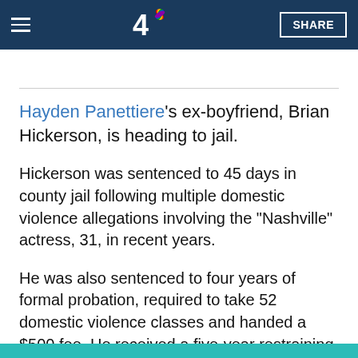NBC4 Los Angeles - Navigation bar with logo and SHARE button
Hayden Panettiere's ex-boyfriend, Brian Hickerson, is heading to jail.
Hickerson was sentenced to 45 days in county jail following multiple domestic violence allegations involving the "Nashville" actress, 31, in recent years.
He was also sentenced to four years of formal probation, required to take 52 domestic violence classes and handed a $500 fee. He received a five-year restraining order, the Los Angeles District Attorney's Office said.